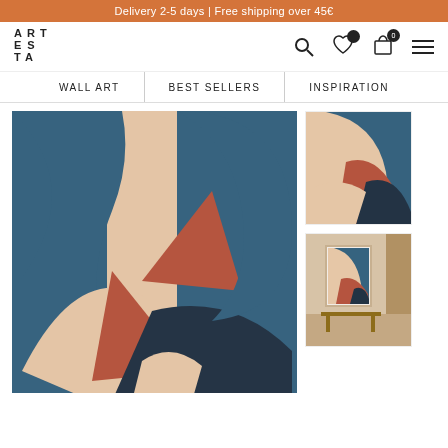Delivery 2-5 days | Free shipping over 45€
[Figure (logo): ART ES TA logo in bold spaced lettering]
[Figure (infographic): Navigation icons: search, heart with badge, shopping bag with 0 badge, hamburger menu]
WALL ART | BEST SELLERS | INSPIRATION
[Figure (photo): Main product image: abstract geometric art print with blue, terracotta/rust, beige, and dark navy curved shapes on canvas texture]
[Figure (photo): Thumbnail 1: close-up of abstract geometric art print]
[Figure (photo): Thumbnail 2: framed art print displayed in room setting on console table]